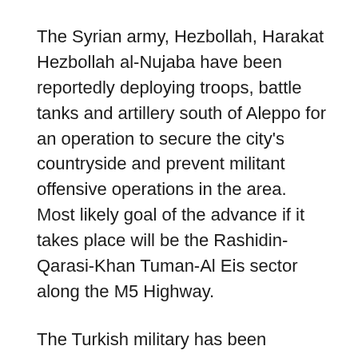The Syrian army, Hezbollah, Harakat Hezbollah al-Nujaba have been reportedly deploying troops, battle tanks and artillery south of Aleppo for an operation to secure the city's countryside and prevent militant offensive operations in the area. Most likely goal of the advance if it takes place will be the Rashidin- Qarasi-Khan Tuman-Al Eis sector along the M5 Highway.
The Turkish military has been deploying more special forces servicemembers, heavy military equipment and artillery units to Syria amid the ongoing clashes between Turkey-led forces and ISIS for the key town of al-Bab in the province of Aleppo. Last weekend, Turkish forces made few more attempts to seize the al-Bab hospital and to enter the town, but failed to do this. By December 26, ISIS terrorist have repelled all Turkey-led attacks and set a full control over the hospital area despite a high involvement of the Turkish Special